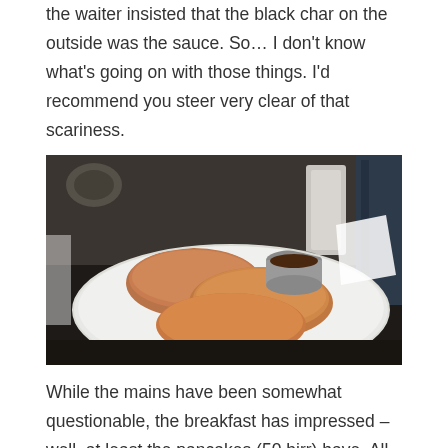the waiter insisted that the black char on the outside was the sauce. So… I don't know what's going on with those things. I'd recommend you steer very clear of that scariness.
[Figure (photo): A white plate with several large pancakes and a small metal bowl of syrup, placed on a dark table with a chair visible in the background.]
While the mains have been somewhat questionable, the breakfast has impressed – well, at least the pancakes (50 birr) have. All light